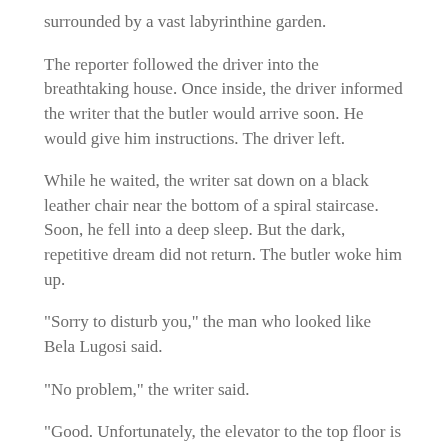surrounded by a vast labyrinthine garden.
The reporter followed the driver into the breathtaking house. Once inside, the driver informed the writer that the butler would arrive soon. He would give him instructions. The driver left.
While he waited, the writer sat down on a black leather chair near the bottom of a spiral staircase. Soon, he fell into a deep sleep. But the dark, repetitive dream did not return. The butler woke him up.
“Sorry to disturb you,” the man who looked like Bela Lugosi said.
“No problem,” the writer said.
“Good. Unfortunately, the elevator to the top floor is temporarily out of order.”
“I see.”